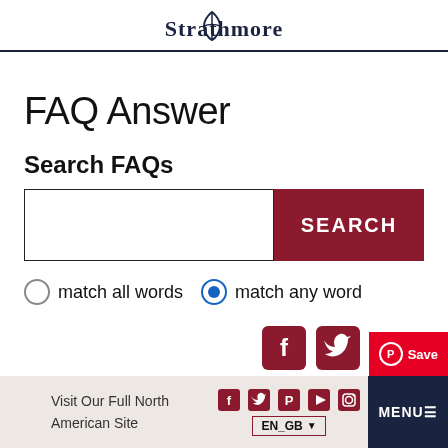Strathmore
FAQ Answer
Search FAQs
SEARCH
match all words  match any word
Visit Our Full North American Site  EN_GB  MENU